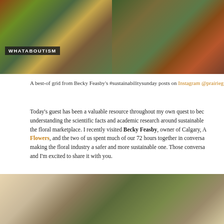[Figure (photo): Two side-by-side social media grid photos: left shows a flower bouquet with a dark banner reading WHATABOUTISM; right shows a person surrounded by colorful flowers and foliage with a shirt partially visible.]
A best-of grid from Becky Feasby's #sustainabilitysunday posts on Instagram @prairieg
Today's guest has been a valuable resource throughout my own quest to be understanding the scientific facts and academic research around sustainable the floral marketplace. I recently visited Becky Feasby, owner of Calgary, A Flowers, and the two of us spent much of our 72 hours together in conversa making the floral industry a safer and more sustainable one. Those conversa and I'm excited to share it with you.
[Figure (photo): A woman in a white dress standing near a brick wall with lush greenery and tree branches around her.]